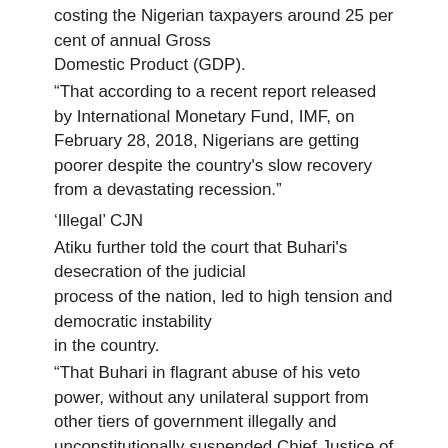costing the Nigerian taxpayers around 25 per cent of annual Gross Domestic Product (GDP).
“That according to a recent report released by International Monetary Fund, IMF, on February 28, 2018, Nigerians are getting poorer despite the country's slow recovery from a devastating recession.”
‘Illegal’ CJN
Atiku further told the court that Buhari's desecration of the judicial process of the nation, led to high tension and democratic instability in the country.
“That Buhari in flagrant abuse of his veto power, without any unilateral support from other tiers of government illegally and unconstitutionally suspended Chief Justice of Nigeria, CJN, Justice Walter Onnoghen, from office on January 25, 2019 without strict adherence to the provisions of section 292 of the 1999